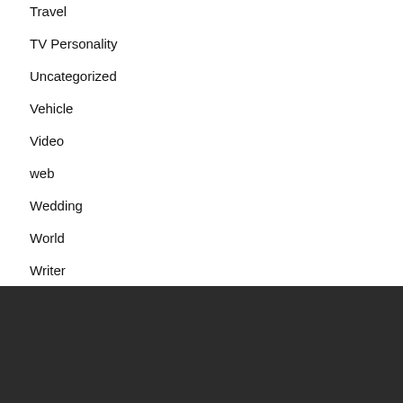Travel
TV Personality
Uncategorized
Vehicle
Video
web
Wedding
World
Writer
Recent Posts
Are Aries and Scorpio Soulmates?